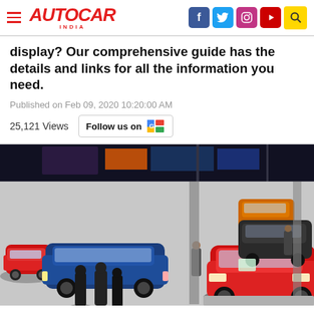AUTOCAR INDIA
display? Our comprehensive guide has the details and links for all the information you need.
Published on Feb 09, 2020 10:20:00 AM
25,121 Views  Follow us on [Google News]
[Figure (photo): Aerial view of a car showroom or auto expo floor with multiple cars on display including a red sports car in foreground, a blue SUV, and other vehicles. Several visitors are visible walking around the exhibition hall.]